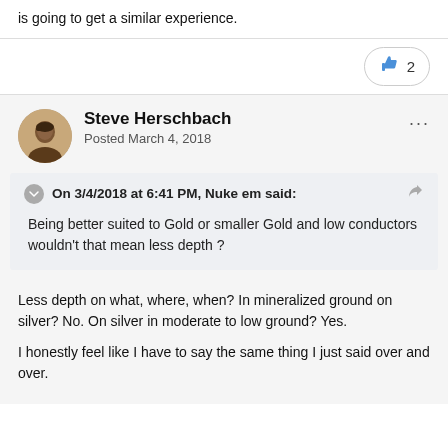is going to get a similar experience.
2
Steve Herschbach
Posted March 4, 2018
On 3/4/2018 at 6:41 PM, Nuke em said:
Being better suited to Gold or smaller Gold and low conductors wouldn't that mean less depth ?
Less depth on what, where, when? In mineralized ground on silver? No. On silver in moderate to low ground? Yes.
I honestly feel like I have to say the same thing I just said over and over.